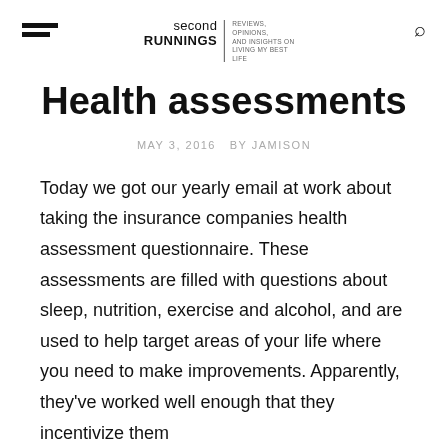second RUNNINGS | REVIEWS, OPINIONS, AND INSIGHTS ON LIVING MY BEST LIFE
Health assessments
MAY 3, 2016  BY JAMISON
Today we got our yearly email at work about taking the insurance companies health assessment questionnaire. These assessments are filled with questions about sleep, nutrition, exercise and alcohol, and are used to help target areas of your life where you need to make improvements. Apparently, they've worked well enough that they incentivize them